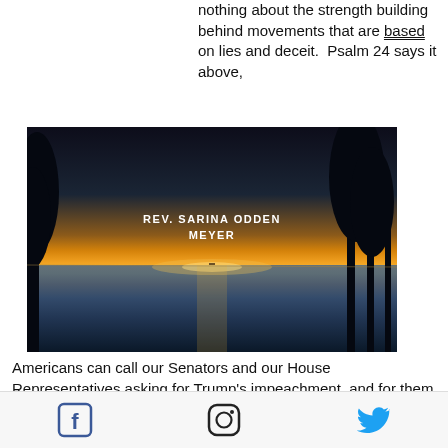nothing about the strength building behind movements that are based on lies and deceit.  Psalm 24 says it above, stands f Jesus, Federal
[Figure (photo): Sunset landscape photo over a body of water with silhouetted trees, overlaid with text 'REV. SARINA ODDEN MEYER']
Americans can call our Senators and our House Representatives asking for Trump's impeachment, and for them to investigate and expel (according to the 14th amendment) the lawmakers who voted to overturn the election.  Canadians can call your MP and ask for the Proud Boys to be declared a domestic terrorist organization and for QAnon to be monitored for domestic terrorism.  These are things we can do right now from the
Facebook  Instagram  Twitter